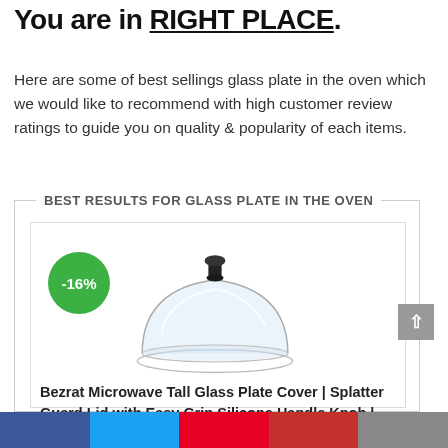You are in RIGHT PLACE.
Here are some of best sellings glass plate in the oven which we would like to recommend with high customer review ratings to guide you on quality & popularity of each items.
BEST RESULTS FOR GLASS PLATE IN THE OVEN
[Figure (photo): Product card showing a glass microwave plate cover lid with a -16% discount badge (green circle). The lid is dome-shaped clear glass with a black silicone handle knob on top.]
Bezrat Microwave Tall Glass Plate Cover | Splatter Guard Lid with Easy Grip Silicone Handle Knob | 100% Food Grade | BPA Free